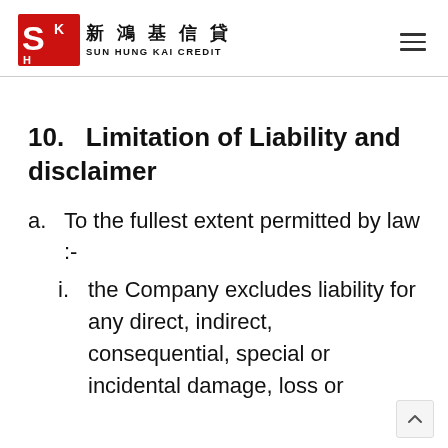Sun Hung Kai Credit 新鴻基信貸
10.   Limitation of Liability and disclaimer
a. To the fullest extent permitted by law :-
i. the Company excludes liability for any direct, indirect, consequential, special or incidental damage, loss or